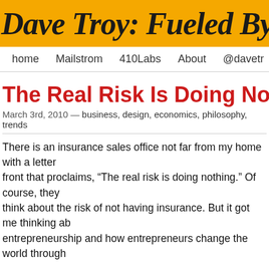Dave Troy: Fueled By Ran
home   Mailstrom   410Labs   About   @davetr
The Real Risk Is Doing Nothing
March 3rd, 2010 — business, design, economics, philosophy, trends
There is an insurance sales office not far from my home with a letter front that proclaims, “The real risk is doing nothing.” Of course, they think about the risk of not having insurance. But it got me thinking about entrepreneurship and how entrepreneurs change the world through
And I’m not talking about changing the world in some pie-in-the-sky, way. Recently I’ve been reading the work of entrepreneurship research Sarasvathy, whose theory of “effectuation” states that entrepreneurs the world around them through their actions.
Sarasvathy has interviewed hundreds of entrepreneurs and one com